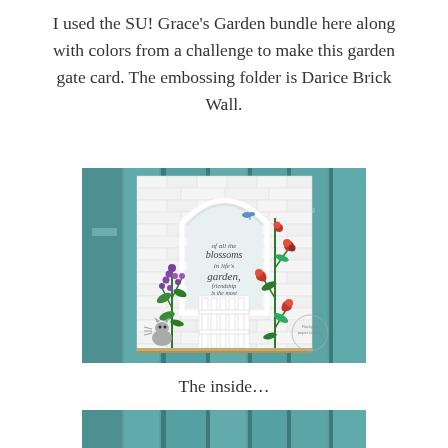I used the SU! Grace's Garden bundle here along with colors from a challenge to make this garden gate card. The embossing folder is Darice Brick Wall.
[Figure (photo): A handmade garden gate card featuring a white brick-embossed background with an arch opening, purple flowers and a climbing rose vine on either side, a white picket gate, a small cat at the bottom, and a blue bird at the top of the arch. The card has a sentiment reading 'of all the blossoms in life's garden, friendship is the most fragrant.' The card is photographed leaning against a teal/turquoise wooden background.]
The inside…
[Figure (photo): Bottom portion of another card photograph partially visible, showing the same teal/turquoise wooden background.]